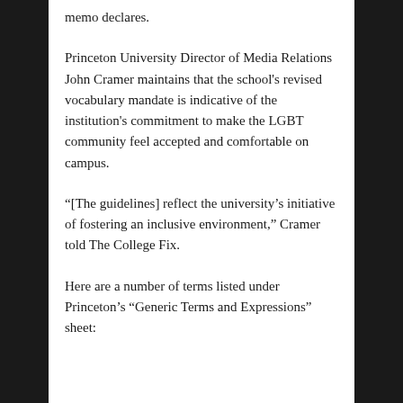memo declares.
Princeton University Director of Media Relations John Cramer maintains that the school's revised vocabulary mandate is indicative of the institution's commitment to make the LGBT community feel accepted and comfortable on campus.
“[The guidelines] reflect the university’s initiative of fostering an inclusive environment,” Cramer told The College Fix.
Here are a number of terms listed under Princeton’s “Generic Terms and Expressions” sheet: